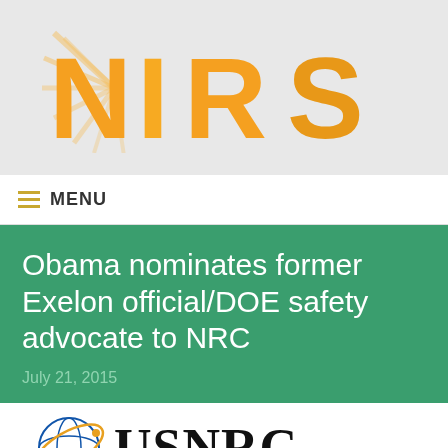[Figure (logo): NIRS logo with orange/yellow stylized letters on grey background]
≡ MENU
Obama nominates former Exelon official/DOE safety advocate to NRC
July 21, 2015
[Figure (logo): US NRC (Nuclear Regulatory Commission) logo with globe graphic]